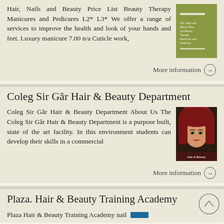Hair, Nails and Beauty Price List Beauty Therapy Manicures and Pedicures L2* L3* We offer a range of services to improve the health and look of your hands and feet. Luxury manicure 7.00 n/a Cuticle work,
[Figure (other): Green thumbnail image for hair nails and beauty price list]
More information →
Coleg Sir Gâr Hair & Beauty Department
Coleg Sir Gâr Hair & Beauty Department About Us The Coleg Sir Gâr Hair & Beauty Department is a purpose built, state of the art facility. In this environment students can develop their skills in a commercial
[Figure (photo): Photo of a woman with styled red/brown hair for Coleg Sir Gâr Hair & Beauty Department]
More information →
Plaza. Hair & Beauty Training Academy
Plaza Hair & Beauty Training Academy nail